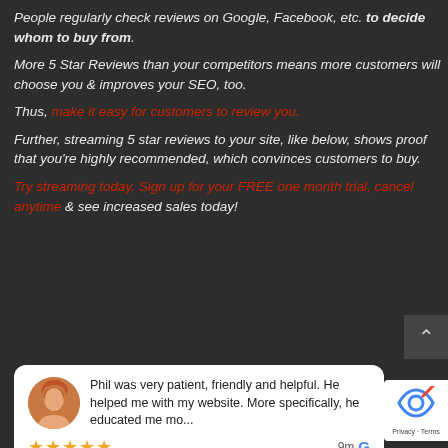People regularly check reviews on Google, Facebook, etc. to decide whom to buy from.
More 5 Star Reviews than your competitors means more customers will choose you & improves your SEO, too.
Thus, make it easy for customers to review you.
Further, streaming 5 star reviews to your site, like below, shows proof that you're highly recommended, which convinces customers to buy.
Try streaming today. Sign up for your FREE one month trial, cancel anytime & see increased sales today!
Phil was very patient, friendly and helpful. He helped me with my website. More specifically, he educated me mo... ★★★★★  9m G